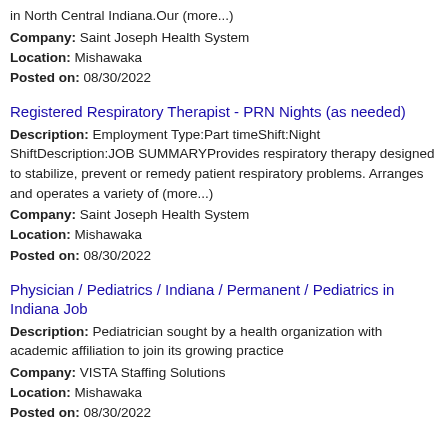in North Central Indiana.Our (more...)
Company: Saint Joseph Health System
Location: Mishawaka
Posted on: 08/30/2022
Registered Respiratory Therapist - PRN Nights (as needed)
Description: Employment Type:Part timeShift:Night ShiftDescription:JOB SUMMARYProvides respiratory therapy designed to stabilize, prevent or remedy patient respiratory problems. Arranges and operates a variety of (more...)
Company: Saint Joseph Health System
Location: Mishawaka
Posted on: 08/30/2022
Physician / Pediatrics / Indiana / Permanent / Pediatrics in Indiana Job
Description: Pediatrician sought by a health organization with academic affiliation to join its growing practice
Company: VISTA Staffing Solutions
Location: Mishawaka
Posted on: 08/30/2022